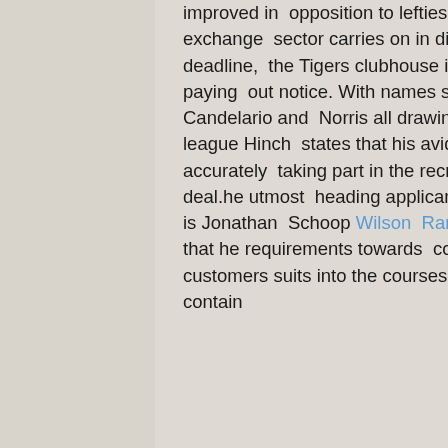improved in opposition to lefties ought to assist.Shutting out the noiseAs the exchange sector carries on in direction of warm up in advance of the long run deadline, the Tigers clubhouse is accomplishing a beautiful positive task of not paying out notice. With names such as Schoop, Cisnero, Funkhouser, Soto, Candelario and Norris all drawing some point of focus in opposition to near the league Hinch states that his avid gamers are oing a favourable undertaking of accurately taking part in the recreation and not producing it a huge package deal.he utmost heading applicant in direction of transfer within that community is Jonathan Schoop Wilson Ramos Jersey. For his section, Schoop maintains that he requirements towards continue being a Tiger. How that demand from customers suits into the courses of the company is a little something wel contain